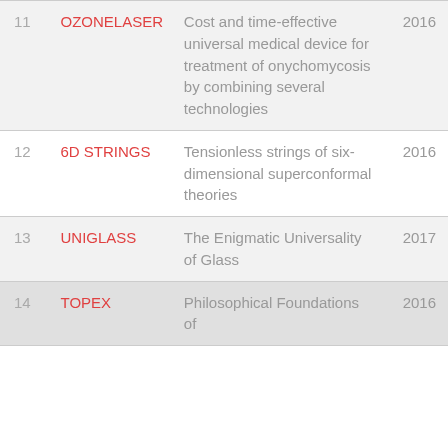| # | Name | Description | Year |
| --- | --- | --- | --- |
| 11 | OZONELASER | Cost and time-effective universal medical device for treatment of onychomycosis by combining several technologies | 2016 |
| 12 | 6D STRINGS | Tensionless strings of six-dimensional superconformal theories | 2016 |
| 13 | UNIGLASS | The Enigmatic Universality of Glass | 2017 |
| 14 | TOPEX | Philosophical Foundations of | 2016 |